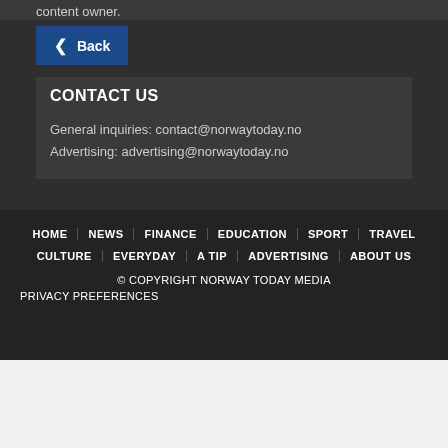content owner.
Back
CONTACT US
General inquiries: contact@norwaytoday.no
Advertising: advertising@norwaytoday.no
HOME | NEWS | FINANCE | EDUCATION | SPORT | TRAVEL | CULTURE | EVERYDAY | A TIP | ADVERTISING | ABOUT US
© COPYRIGHT NORWAY TODAY MEDIA
PRIVACY PREFERENCES